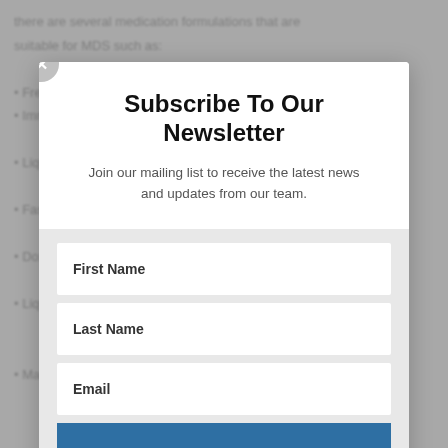there are several medication formulations that are suitable for MDS such as:
Subscribe To Our Newsletter
Join our mailing list to receive the latest news and updates from our team.
First Name
Last Name
Email
SUBSCRIBE